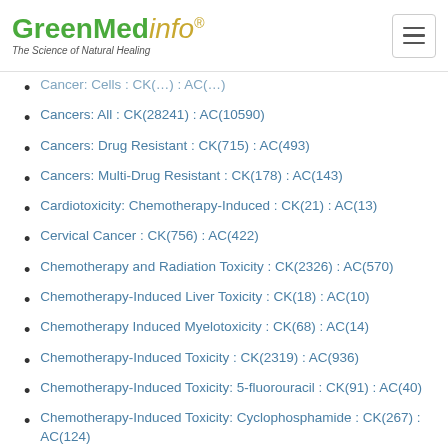GreenMedinfo® - The Science of Natural Healing
Cancers: All : CK(28241) : AC(10590)
Cancers: Drug Resistant : CK(715) : AC(493)
Cancers: Multi-Drug Resistant : CK(178) : AC(143)
Cardiotoxicity: Chemotherapy-Induced : CK(21) : AC(13)
Cervical Cancer : CK(756) : AC(422)
Chemotherapy and Radiation Toxicity : CK(2326) : AC(570)
Chemotherapy-Induced Liver Toxicity : CK(18) : AC(10)
Chemotherapy Induced Myelotoxicity : CK(68) : AC(14)
Chemotherapy-Induced Toxicity : CK(2319) : AC(936)
Chemotherapy-Induced Toxicity: 5-fluorouracil : CK(91) : AC(40)
Chemotherapy-Induced Toxicity: Cyclophosphamide : CK(267) : AC(124)
Chemotherapy Induced Toxicity: Adriamycin :